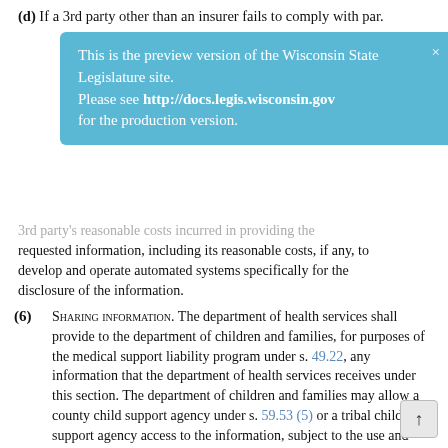(d) If a 3rd party other than an insurer fails to comply with par.
[Figure (infographic): Blue preview banner reading: 'This is the preview version of the Wisconsin State Legislature site. Please see http://docs.legis.wisconsin.gov for the production version.' with a close X button in the top right corner.]
3rd party's reasonable costs incurred in providing the requested information, including its reasonable costs, if any, to develop and operate automated systems specifically for the disclosure of the information.
(6) SHARING INFORMATION. The department of health services shall provide to the department of children and families, for purposes of the medical support liability program under s. 49.22, any information that the department of health services receives under this section. The department of children and families may allow a county child support agency under s. 59.53 (5) or a tribal child support agency access to the information, subject to the use and disclosure restrictions under s. 49.83, and shall consult with the department of health services regarding procedures and methods to adequately safeguard the confidentiality of the information provided under this subsection.
History: 1991 a. 39; 1999 a. 9; 2007 a. 20 ss. 1610 to 1626, 9121 (6) (a); 2011 a. 189; 2013 a. 20.
49.48 Denial, nonrenewal and suspension of certification